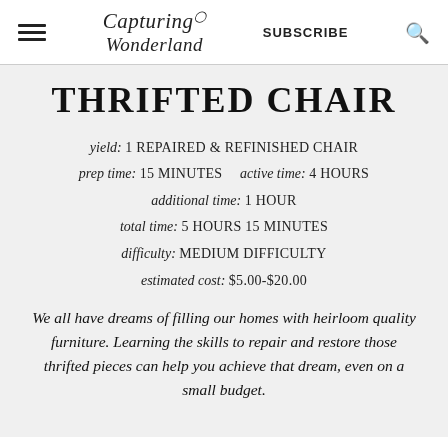Capturing Wonderland | SUBSCRIBE
THRIFTED CHAIR
yield: 1 REPAIRED & REFINISHED CHAIR
prep time: 15 MINUTES   active time: 4 HOURS
additional time: 1 HOUR
total time: 5 HOURS 15 MINUTES
difficulty: MEDIUM DIFFICULTY
estimated cost: $5.00-$20.00
We all have dreams of filling our homes with heirloom quality furniture. Learning the skills to repair and restore those thrifted pieces can help you achieve that dream, even on a small budget.